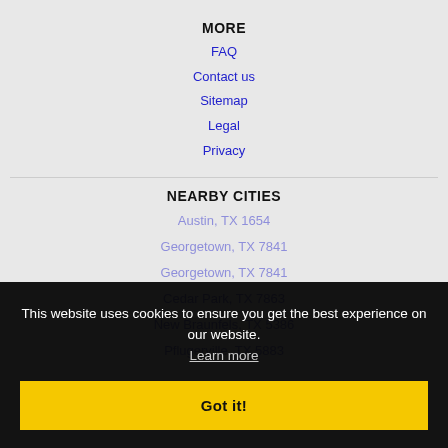MORE
FAQ
Contact us
Sitemap
Legal
Privacy
NEARBY CITIES
Austin, TX 1654
Georgetown, TX 7841
Georgetown, TX 7841
Cedar Park, TX 7863
New Braunfels, TX 5386
Pflugerville, TX 5883
This website uses cookies to ensure you get the best experience on our website.
Learn more
Got it!